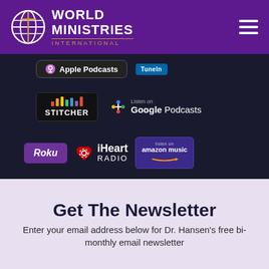[Figure (logo): World Ministries International logo with globe icon and purple header, plus hamburger menu icon]
[Figure (screenshot): Dark background section showing podcast platform badges: Apple Podcasts, TuneIn, Stitcher, Google Podcasts, Roku, iHeart Radio, Amazon Music, PodBean, Spotify]
Get The Newsletter
Enter your email address below for Dr. Hansen's free bi-monthly email newsletter